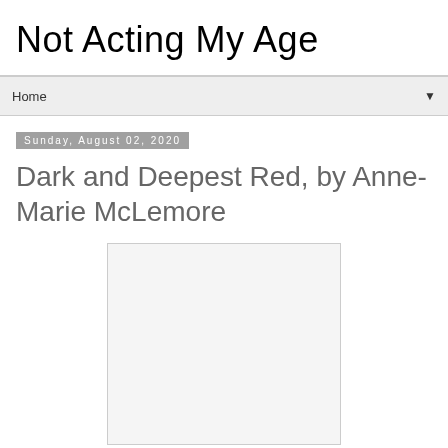Not Acting My Age
Home
Sunday, August 02, 2020
Dark and Deepest Red, by Anne-Marie McLemore
[Figure (other): Book cover image placeholder — white/light gray rectangle]